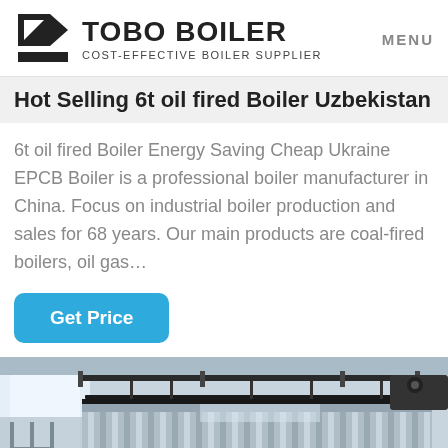TOBO BOILER — COST-EFFECTIVE BOILER SUPPLIER | MENU
Hot Selling 6t oil fired Boiler Uzbekistan
6t oil fired Boiler Energy Saving Cheap Ukraine EPCB Boiler is a professional boiler manufacturer in China. Focus on industrial boiler production and sales for 68 years. Our main products are coal-fired boilers, oil gas…
Get Price
[Figure (photo): Industrial oil-fired boiler in a factory setting, showing corrugated metal cylindrical boiler body with overhead pipe systems and industrial lighting in the background.]